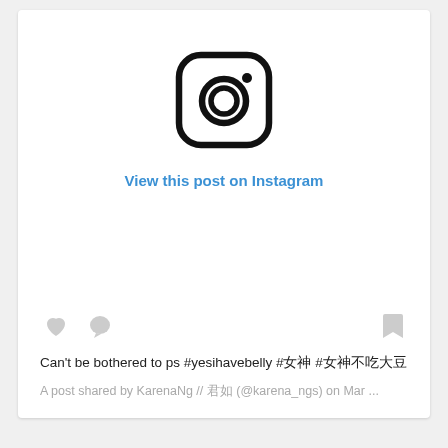[Figure (logo): Instagram camera logo icon — rounded square with a circle and dot, black outline on white background]
View this post on Instagram
[Figure (infographic): Instagram action icons: heart (like), speech bubble (comment), and bookmark icons in light gray]
​Can't be bothered to ps #yesihavebelly #女神 #女神不吃大豆
A post shared by KarenaNg // 君如 (@karena_ngs) on Mar ...